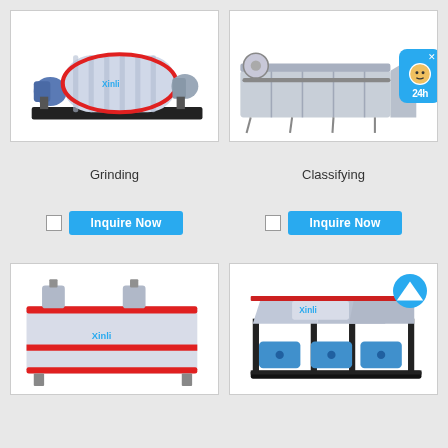[Figure (illustration): Ball mill grinding machine - industrial equipment with cylindrical drum, red ring, motor and base shown in 3D render]
[Figure (illustration): Spiral classifier / screw classifier - elongated trough with spiral conveyor, motor, and support structure in 3D render; chat widget with face icon and 24h label overlaid]
Grinding
Classifying
Inquire Now
Inquire Now
[Figure (illustration): Flotation machine - rectangular tank with dual rotors and red stripe branding, Xinli logo, in 3D render]
[Figure (illustration): Gravity separator / jig machine - compact unit with multiple hoppers and blue motor units on black frame, Xinli logo, in 3D render; scroll-up button overlaid]